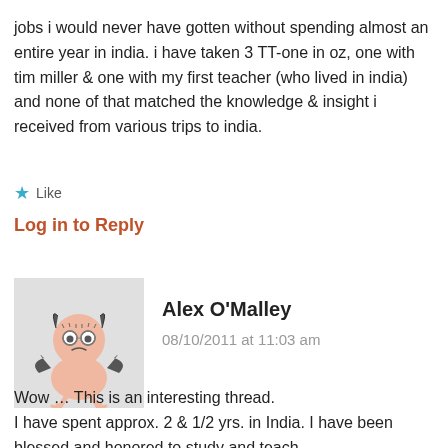jobs i would never have gotten without spending almost an entire year in india. i have taken 3 TT-one in oz, one with tim miller & one with my first teacher (who lived in india) and none of that matched the knowledge & insight i received from various trips to india.
★ Like
Log in to Reply
Alex O'Malley
08/10/2011 at 11:03 am
Wow … This is an interesting thread.
I have spent approx. 2 & 1/2 yrs. in India. I have been blessed and honored to study and teach yoga…through this there and the go the...